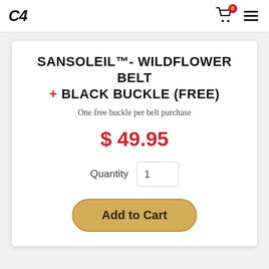C4 — logo, cart icon with badge 0, hamburger menu
SANSOLEIL™- WILDFLOWER BELT + BLACK BUCKLE (FREE)
One free buckle per belt purchase
$ 49.95
Quantity 1
Add to Cart
FEATURES AND SPECIFICATIONS